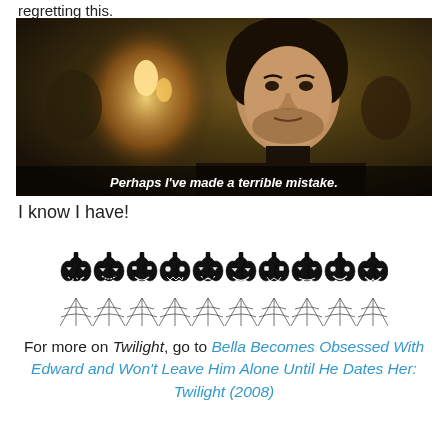regretting this.
[Figure (photo): Movie still showing a young man with curly dark hair looking serious, with candles in the background. Subtitle text reads: Perhaps I've made a terrible mistake.]
I know I have!
[Figure (illustration): A decorative Halloween banner featuring a row of jack-o-lanterns with various expressions sitting on top of a row of spiderwebs.]
For more on Twilight, go to Bella Becomes Obsessed With Edward and Won't Leave Him Alone Until He Dates Her: Twilight (2008)